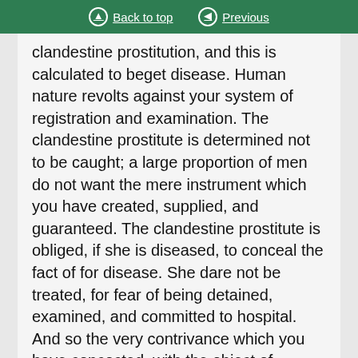Back to top | Previous
clandestine prostitution, and this is calculated to beget disease. Human nature revolts against your system of registration and examination. The clandestine prostitute is determined not to be caught; a large proportion of men do not want the mere instrument which you have created, supplied, and guaranteed. The clandestine prostitute is obliged, if she is diseased, to conceal the fact of for disease. She dare not be treated, for fear of being detained, examined, and committed to hospital. And so the very contrivance which you have concocted, with the object of preventing disease, turns back upon you and defeats your purpose, and you increase clandestine prostitution under conditions which induces prostitutes not to avail themselves of medical help till the pain is too great